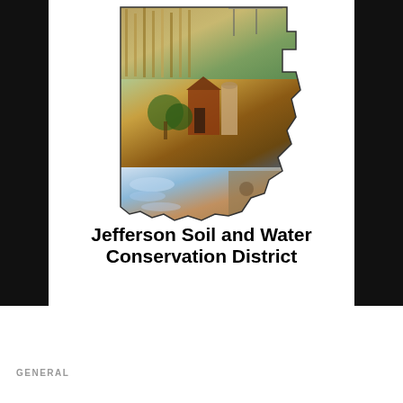[Figure (logo): Jefferson Soil and Water Conservation District logo featuring a state of Jefferson/Oregon shape filled with agricultural and environmental photo collage (cornfields, water, barn/silo structures, trees), displayed on a white background surrounded by black border]
GENERAL